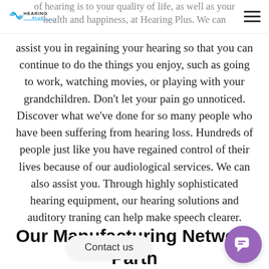Hearing Plus — navigation bar with logo and hamburger menu
of hearing is to your quality of life, as well as your health and happiness, at Hearing Plus. We can assist you in regaining your hearing so that you can continue to do the things you enjoy, such as going to work, watching movies, or playing with your grandchildren. Don't let your pain go unnoticed. Discover what we've done for so many people who have been suffering from hearing loss. Hundreds of people just like you have regained control of their lives because of our audiological services. We can also assist you. Through highly sophisticated hearing equipment, our hearing solutions and auditory traning can help make speech clearer.
Our Manufacturing Network Partn
Contact us